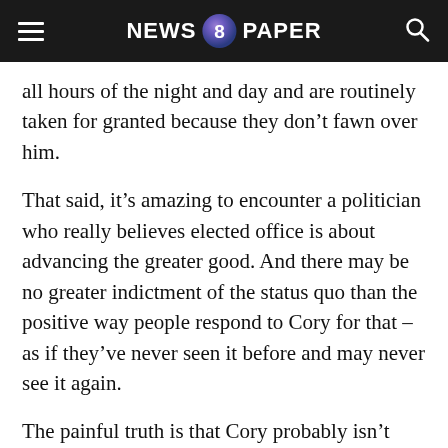NEWS 8 PAPER
all hours of the night and day and are routinely taken for granted because they don’t fawn over him.
That said, it’s amazing to encounter a politician who really believes elected office is about advancing the greater good. And there may be no greater indictment of the status quo than the positive way people respond to Cory for that – as if they’ve never seen it before and may never see it again.
The painful truth is that Cory probably isn’t going to succeed in saving Newark, at least not the way